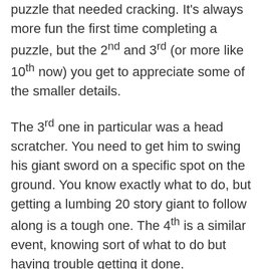puzzle that needed cracking.  It's always more fun the first time completing a puzzle, but the 2nd and 3rd (or more like 10th now) you get to appreciate some of the smaller details.
The 3rd one in particular was a head scratcher.  You need to get him to swing his giant sword on a specific spot on the ground.  You know exactly what to do, but getting a lumbing 20 story giant to follow along is a tough one.  The 4th is a similar event, knowing sort of what to do but having trouble getting it done.
My wife watched the 3rd and thought it was relatively simple.  She had some suggestions for the 4th, which was neat to see.  When I was finally able to climb aboard, she was as happy as I was.